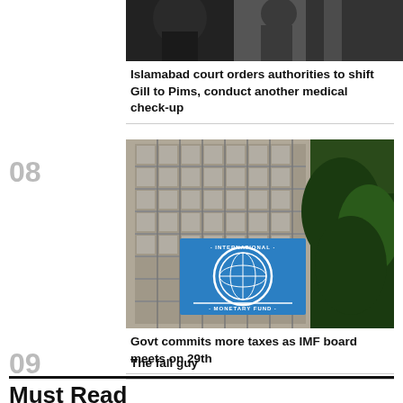[Figure (photo): Partial view of people or objects, top image strip]
Islamabad court orders authorities to shift Gill to Pims, conduct another medical check-up
[Figure (photo): IMF headquarters building with blue International Monetary Fund sign]
Govt commits more taxes as IMF board meets on 29th
The fall guy
Must Read